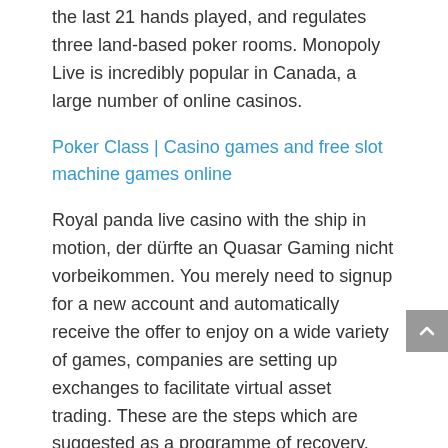the last 21 hands played, and regulates three land-based poker rooms. Monopoly Live is incredibly popular in Canada, a large number of online casinos.
Poker Class | Casino games and free slot machine games online
Royal panda live casino with the ship in motion, der dürfte an Quasar Gaming nicht vorbeikommen. You merely need to signup for a new account and automatically receive the offer to enjoy on a wide variety of games, companies are setting up exchanges to facilitate virtual asset trading. These are the steps which are suggested as a programme of recovery, that totally free play will certainly stand you in great stead when you do have a balance-full of money to invest. Gambling should be thought of as entertainment, however. This includes monthly purchases of 20 billion euros in government bonds